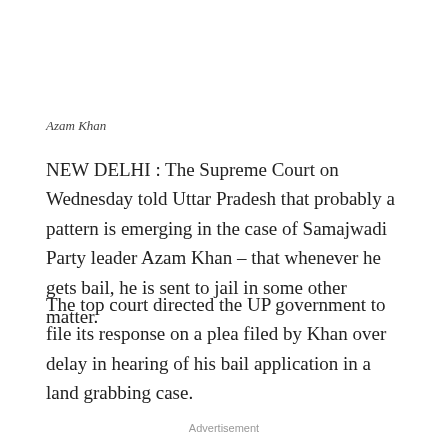Azam Khan
NEW DELHI : The Supreme Court on Wednesday told Uttar Pradesh that probably a pattern is emerging in the case of Samajwadi Party leader Azam Khan – that whenever he gets bail, he is sent to jail in some other matter.
The top court directed the UP government to file its response on a plea filed by Khan over delay in hearing of his bail application in a land grabbing case.
Advertisement